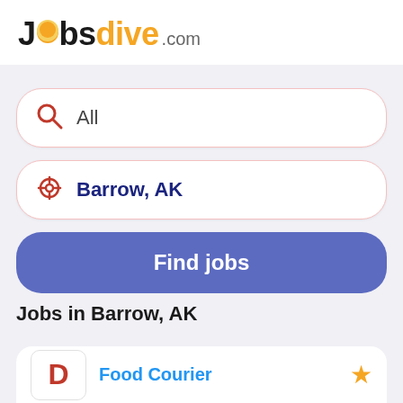[Figure (logo): Jobsdive.com logo with 'Jobs' in black bold, 'dive' in orange bold, and '.com' in gray]
All
Barrow, AK
Find jobs
Jobs in Barrow, AK
Food Courier